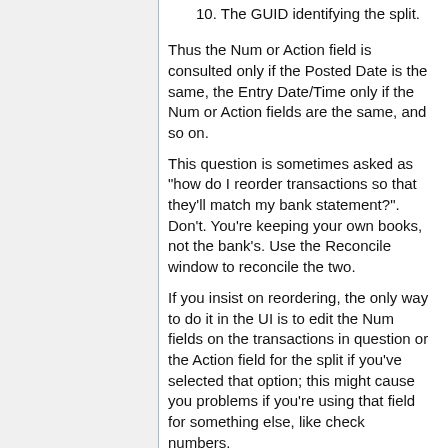10. The GUID identifying the split.
Thus the Num or Action field is consulted only if the Posted Date is the same, the Entry Date/Time only if the Num or Action fields are the same, and so on.
This question is sometimes asked as "how do I reorder transactions so that they'll match my bank statement?". Don't. You're keeping your own books, not the bank's. Use the Reconcile window to reconcile the two.
If you insist on reordering, the only way to do it in the UI is to edit the Num fields on the transactions in question or the Action field for the split if you've selected that option; this might cause you problems if you're using that field for something else, like check numbers.